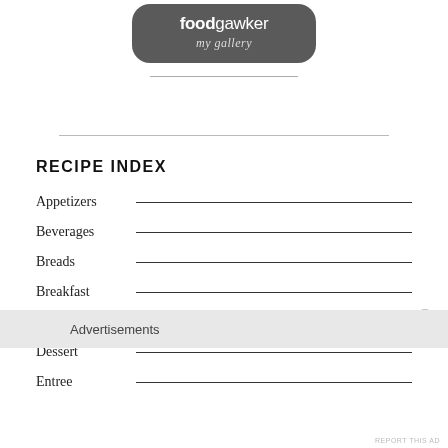[Figure (logo): Foodgawker 'my gallery' badge — dark rounded rectangle with 'foodgawker' in bold white and 'my gallery' in white italic below]
RECIPE INDEX
Appetizers
Beverages
Breads
Breakfast
Condiments
Dessert
Entree
Advertisements
REPORT THIS AD